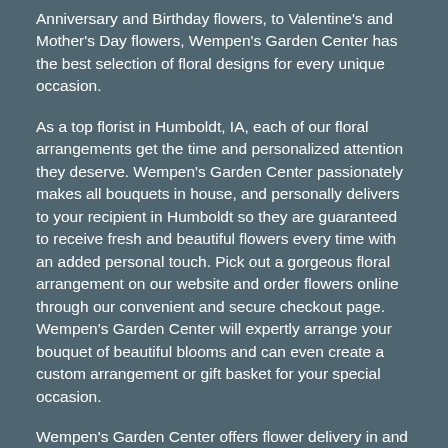Anniversary and Birthday flowers, to Valentine's and Mother's Day flowers, Wempen's Garden Center has the best selection of floral designs for every unique occasion.
As a top florist in Humboldt, IA, each of our floral arrangements get the time and personalized attention they deserve. Wempen's Garden Center passionately makes all bouquets in house, and personally delivers to your recipient in Humboldt so they are guaranteed to receive fresh and beautiful flowers every time with an added personal touch. Pick out a gorgeous floral arrangement on our website and order flowers online through our convenient and secure checkout page. Wempen's Garden Center will expertly arrange your bouquet of beautiful blooms and can even create a custom arrangement or gift basket for your special occasion.
Wempen's Garden Center offers flower delivery in and around Humboldt, as well as nationwide delivery through our reliable florist network! Wempen's Garden Center provides same-day flower delivery for your last minute gift needs in Humboldt, IA as well.